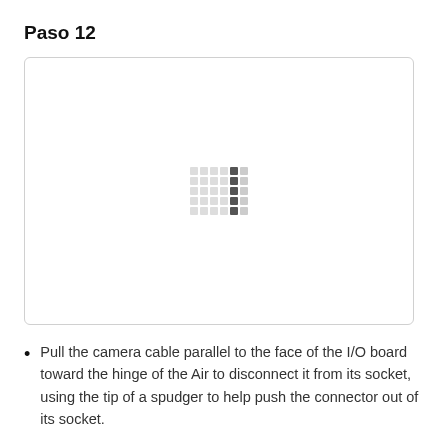Paso 12
[Figure (photo): Large image placeholder with a loading spinner grid pattern in the center, indicating an image that failed to load or is loading. White background with light gray rounded border.]
Pull the camera cable parallel to the face of the I/O board toward the hinge of the Air to disconnect it from its socket, using the tip of a spudger to help push the connector out of its socket.